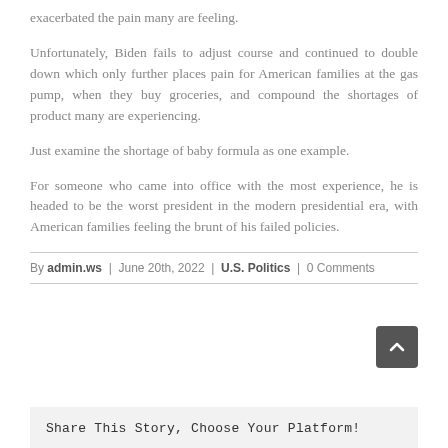exacerbated the pain many are feeling.
Unfortunately, Biden fails to adjust course and continued to double down which only further places pain for American families at the gas pump, when they buy groceries, and compound the shortages of product many are experiencing.
Just examine the shortage of baby formula as one example.
For someone who came into office with the most experience, he is headed to be the worst president in the modern presidential era, with American families feeling the brunt of his failed policies.
By admin.ws | June 20th, 2022 | U.S. Politics | 0 Comments
Share This Story, Choose Your Platform!